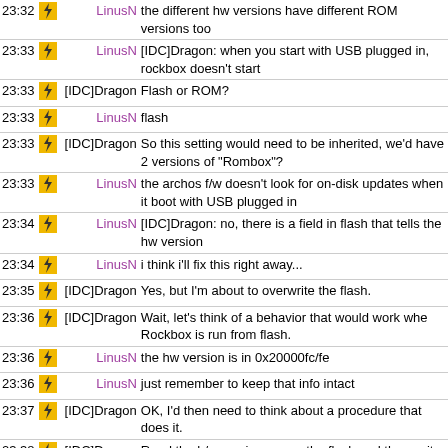| Time | Icon | User | Message |
| --- | --- | --- | --- |
| 23:32 | icon | LinusN | the different hw versions have different ROM versions too |
| 23:33 | icon | LinusN | [IDC]Dragon: when you start with USB plugged in, rockbox doesn't start |
| 23:33 | icon | [IDC]Dragon | Flash or ROM? |
| 23:33 | icon | LinusN | flash |
| 23:33 | icon | [IDC]Dragon | So this setting would need to be inherited, we'd have 2 versions of "Rombox"? |
| 23:33 | icon | LinusN | the archos f/w doesn't look for on-disk updates when it boots with USB plugged in |
| 23:34 | icon | LinusN | [IDC]Dragon: no, there is a field in flash that tells the hw version |
| 23:34 | icon | LinusN | i think i'll fix this right away... |
| 23:35 | icon | [IDC]Dragon | Yes, but I'm about to overwrite the flash. |
| 23:36 | icon | [IDC]Dragon | Wait, let's think of a behavior that would work whe Rockbox is run from flash. |
| 23:36 | icon | LinusN | the hw version is in 0x20000fc/fe |
| 23:36 | icon | LinusN | just remember to keep that info intact |
| 23:37 | icon | [IDC]Dragon | OK, I'd then need to think about a procedure that does it. |
| 23:38 | icon | [IDC]Dragon | Read the h/w version, erase the flash and then write it back. |
| 23:53 |  | zebda27 | hi all |
| 23:54 |  | zebda27 | is there somebody who could help me |
| 23:54 | icon | LinusN | sure |
| 23:55 |  | zebda27 | I d like to get the bookmark feature working in a better way : I mean : - getting a bookmark file per mp3 file (actuallay we get a bookmark file per directory) - and to ye abble to |